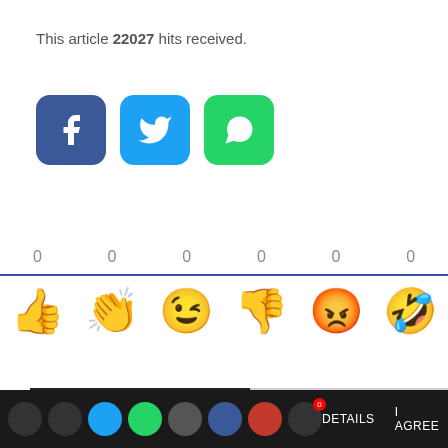This article 22027 hits received.
[Figure (infographic): Three social media share buttons: Facebook (blue), Twitter (light blue), WhatsApp (green)]
[Figure (infographic): Reaction bar with 6 emoji reactions each showing count 0: thumbs up, clapping hands, winking face, thumbs down, angry face, and a partially visible laughing emoji]
COMMENTS
[Figure (infographic): Bottom dark bar with social share icon circles and DETAILS / I AGREE links]